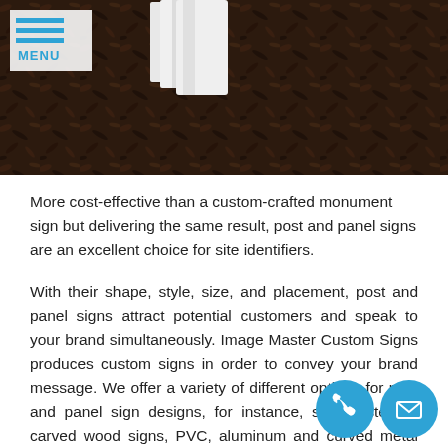[Figure (photo): Photograph of post and panel signs installed in dark mulch/soil ground, showing white rectangular sign panels mounted on posts against a dark background.]
[Figure (other): Menu button overlay with three blue horizontal lines and blue MENU text on white background]
More cost-effective than a custom-crafted monument sign but delivering the same result, post and panel signs are an excellent choice for site identifiers.
With their shape, style, size, and placement, post and panel signs attract potential customers and speak to your brand simultaneously. Image Master Custom Signs produces custom signs in order to convey your brand message. We offer a variety of different options for post and panel sign designs, for instance, sandblasted or carved wood signs, PVC, aluminum and curved metal panels, lighted sign panels, and many more.
Image Master Custom Signs also knows that property signs are most frequently intended to be used as permanent structures, so we focus on g cts that are durable, so we can provide the right solution for
[Figure (other): Two circular blue icon buttons at bottom right: phone/call icon and email/envelope icon]